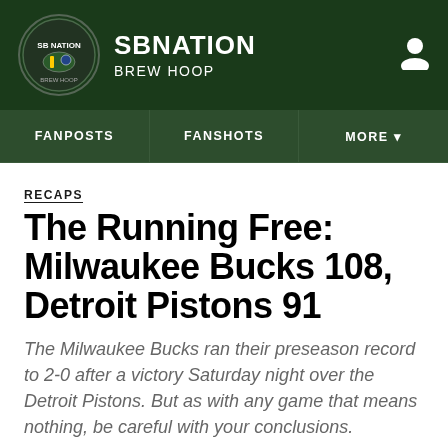SB NATION | BREW HOOP
FANPOSTS | FANSHOTS | MORE
RECAPS
The Running Free: Milwaukee Bucks 108, Detroit Pistons 91
The Milwaukee Bucks ran their preseason record to 2-0 after a victory Saturday night over the Detroit Pistons. But as with any game that means nothing, be careful with your conclusions.
By Jacob McCormick | Oct 14, 2012, 12:03am CDT